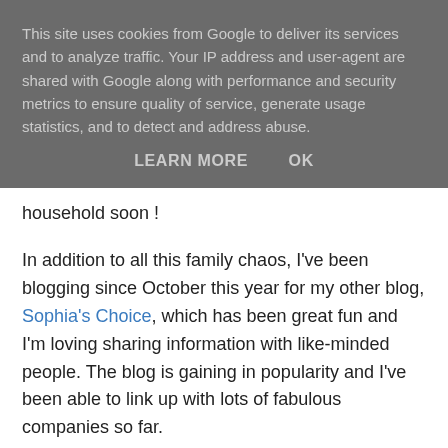This site uses cookies from Google to deliver its services and to analyze traffic. Your IP address and user-agent are shared with Google along with performance and security metrics to ensure quality of service, generate usage statistics, and to detect and address abuse.
LEARN MORE   OK
household soon !
In addition to all this family chaos, I've been blogging since October this year for my other blog, Sophia's Choice, which has been great fun and I'm loving sharing information with like-minded people. The blog is gaining in popularity and I've been able to link up with lots of fabulous companies so far.
[Figure (illustration): Decorative illustration of a woman's silhouette in dark red with floral and paw print motifs on a beige/cream background.]